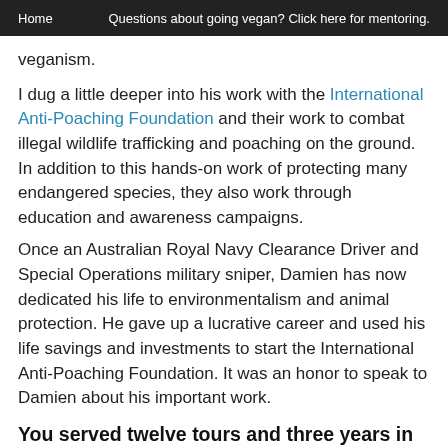Home | Questions about going vegan? Click here for mentoring.
veganism.
I dug a little deeper into his work with the International Anti-Poaching Foundation and their work to combat illegal wildlife trafficking and poaching on the ground. In addition to this hands-on work of protecting many endangered species, they also work through education and awareness campaigns.
Once an Australian Royal Navy Clearance Driver and Special Operations military sniper, Damien has now dedicated his life to environmentalism and animal protection. He gave up a lucrative career and used his life savings and investments to start the International Anti-Poaching Foundation. It was an honor to speak to Damien about his important work.
You served twelve tours and three years in Iraq as a contractor, after a career as a special operations sniper and clearance diver in the Australian Defense Force. While